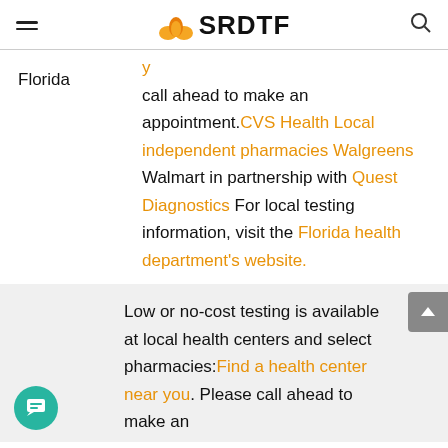SRDTF
call ahead to make an appointment. CVS Health Local independent pharmacies Walgreens Walmart in partnership with Quest Diagnostics For local testing information, visit the Florida health department's website.
Low or no-cost testing is available at local health centers and select pharmacies: Find a health center near you. Please call ahead to make an